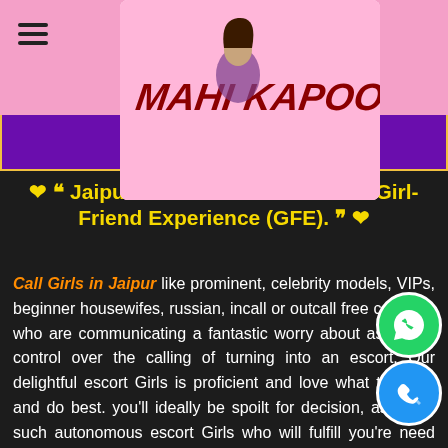[Figure (logo): Mahi Kapoor escort website logo with stylized text and female figure on pink background]
❤ ““ Jaipur Call Girls for Real Time Girl-Friend Experience (GFE). ”” ❤
Call Girls in Jaipur like prominent, celebrity models, VIPs, beginner housewifes, russian, incall or outcall free call Girls who are communicating a fantastic worry about assuming control over the calling of turning into an escort. Our delightful escort Girls is proficient and love what they did and do best. you'll ideally be spoilt for decision, as we've such autonomous escort Girls who will fulfill you're need and different inclinations erotically, genuinely and explicitly for constant sweetheart involvement with Ja... more Services Provid